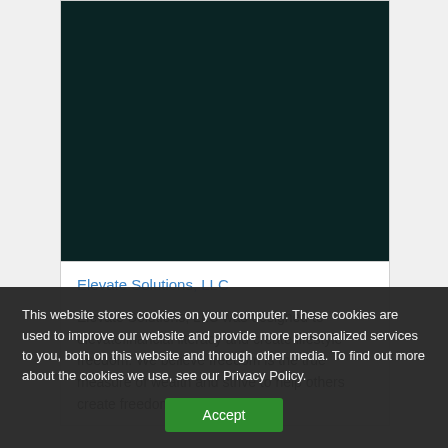[Figure (other): Dark teal/black rectangular image block, likely a company logo or video thumbnail for Elevate Solutions LLC]
Elevate Solutions, LLC
Elevate Solutions, LLC was designed to elevatefinancial literacy and create lifestyle freedom. We believe freedom is the true measure of wealth and strive to help others create freedom. If you
This website stores cookies on your computer. These cookies are used to improve our website and provide more personalized services to you, both on this website and through other media. To find out more about the cookies we use, see our Privacy Policy.